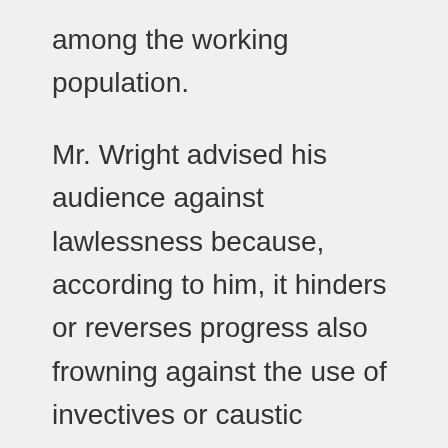among the working population.
Mr. Wright advised his audience against lawlessness because, according to him, it hinders or reverses progress also frowning against the use of invectives or caustic language in public by some young people. He said the security situation within the Hastings community is improving than in the past for the fact that major incidents were not reported over the period.
He lauded the youths of Hastings for their usual participation in community